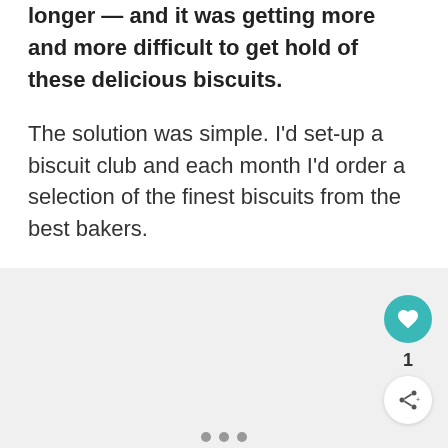longer — and it was getting more and more difficult to get hold of these delicious biscuits.
The solution was simple. I'd set-up a biscuit club and each month I'd order a selection of the finest biscuits from the best bakers.